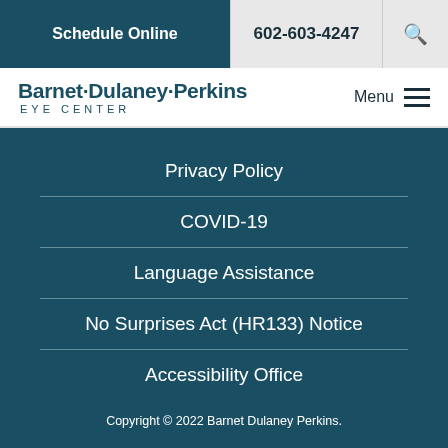Schedule Online | 602-603-4247
Barnet·Dulaney·Perkins EYE CENTER
Privacy Policy
COVID-19
Language Assistance
No Surprises Act (HR133) Notice
Accessibility Office
Copyright © 2022 Barnet Dulaney Perkins.